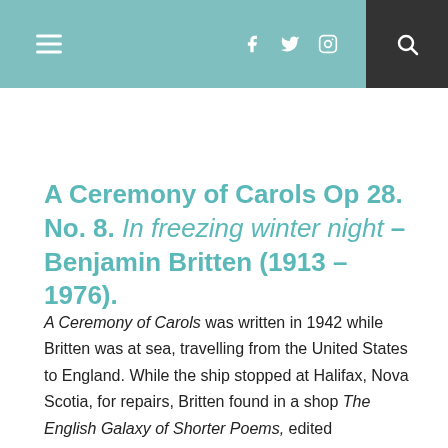Navigation header with hamburger menu, social icons (Facebook, Twitter, Instagram), and search button
A Ceremony of Carols Op 28. No. 8. In freezing winter night – Benjamin Britten (1913 – 1976).
A Ceremony of Carols was written in 1942 while Britten was at sea, travelling from the United States to England. While the ship stopped at Halifax, Nova Scotia, for repairs, Britten found in a shop The English Galaxy of Shorter Poems, edited